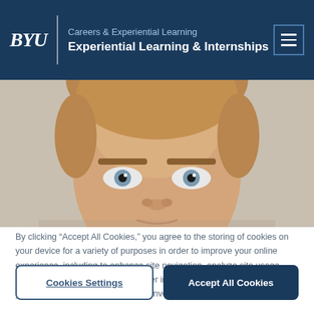BYU | Careers & Experiential Learning | Experiential Learning & Internships
[Figure (photo): Close-up photo of a young man with short blonde/brown hair, cropped to show face and forehead against a light background]
By clicking “Accept All Cookies,” you agree to the storing of cookies on your device for a variety of purposes in order to improve your online experience, including to enhance site navigation, analyze site usage, and assist in our efforts to remember important information that will make your future use of our sites more convenient.
Cookies Settings
Accept All Cookies